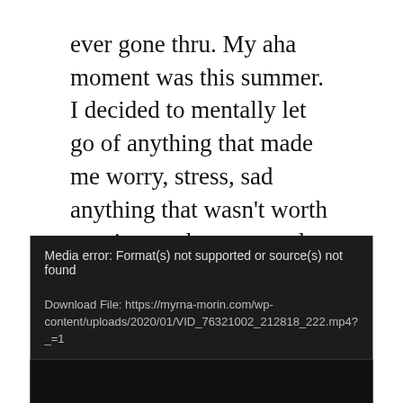ever gone thru. My aha moment was this summer. I decided to mentally let go of anything that made me worry, stress, sad anything that wasn't worth my time and energy and most importantly my health because at the end of the day my life changes are for me to live longer to be able to see all the grandchildren I hope to have. Stressing isn't good for your health so mentally throw away anything or anyone not worth stressing over.
[Figure (screenshot): Media player error box with dark background showing: 'Media error: Format(s) not supported or source(s) not found' and a download file link to https://myrna-morin.com/wp-content/uploads/2020/01/VID_76321002_212818_222.mp4?_=1, followed by a black video player area.]